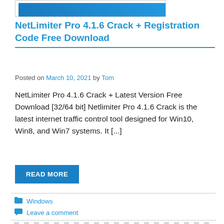[Figure (screenshot): Partial screenshot of a software logo/banner with a blue gradient bar]
NetLimiter Pro 4.1.6 Crack + Registration Code Free Download
Posted on March 10, 2021 by Tom
NetLimiter Pro 4.1.6 Crack + Latest Version Free Download [32/64 bit] Netlimiter Pro 4.1.6 Crack is the latest internet traffic control tool designed for Win10, Win8, and Win7 systems. It [...]
READ MORE
Windows
Leave a comment
[Figure (screenshot): Bottom portion showing a checkerboard placeholder pattern with a blue arc shape, partial view of next article image]